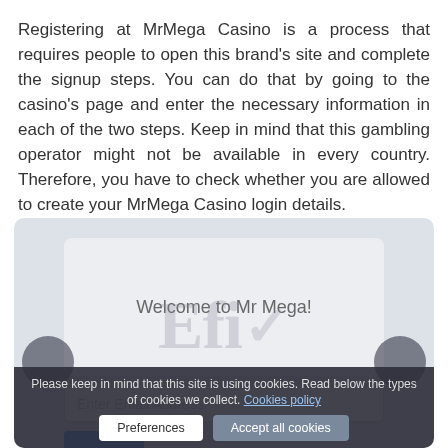Registering at MrMega Casino is a process that requires people to open this brand's site and complete the signup steps. You can do that by going to the casino's page and enter the necessary information in each of the two steps. Keep in mind that this gambling operator might not be available in every country. Therefore, you have to check whether you are allowed to create your MrMega Casino login details.
[Figure (screenshot): Screenshot of MrMega Casino registration page showing a card with 'Welcome to Mr Mega!' text, an email address input field, a partial blue button, and a watermark overlay. A cookie consent bar is shown at the bottom with 'Preferences' and 'Accept all cookies' buttons.]